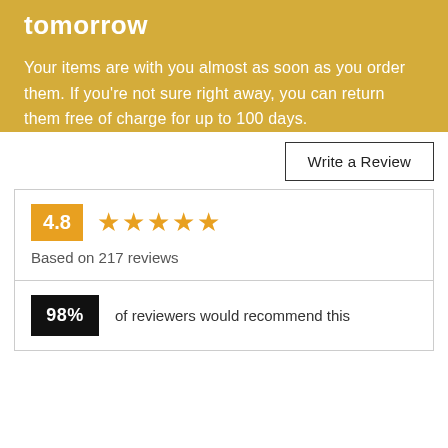tomorrow
Your items are with you almost as soon as you order them. If you're not sure right away, you can return them free of charge for up to 100 days.
Write a Review
4.8 ★★★★★ Based on 217 reviews
98% of reviewers would recommend this